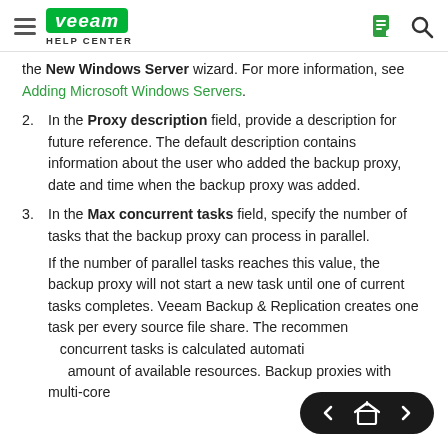Veeam Help Center
the New Windows Server wizard. For more information, see Adding Microsoft Windows Servers.
2. In the Proxy description field, provide a description for future reference. The default description contains information about the user who added the backup proxy, date and time when the backup proxy was added.
3. In the Max concurrent tasks field, specify the number of tasks that the backup proxy can process in parallel.
If the number of parallel tasks reaches this value, the backup proxy will not start a new task until one of current tasks completes. Veeam Backup & Replication creates one task per every source file share. The recommended number of concurrent tasks is calculated automatically based on the amount of available resources. Backup proxies with multi-core